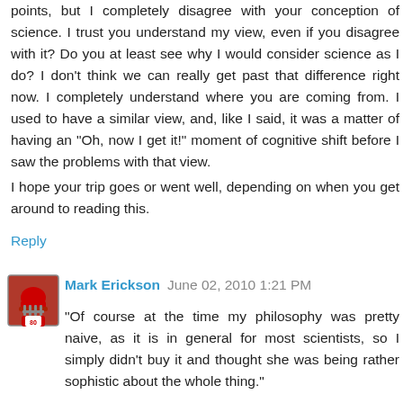points, but I completely disagree with your conception of science. I trust you understand my view, even if you disagree with it? Do you at least see why I would consider science as I do? I don't think we can really get past that difference right now. I completely understand where you are coming from. I used to have a similar view, and, like I said, it was a matter of having an "Oh, now I get it!" moment of cognitive shift before I saw the problems with that view.
I hope your trip goes or went well, depending on when you get around to reading this.
Reply
Mark Erickson  June 02, 2010 1:21 PM
"Of course at the time my philosophy was pretty naive, as it is in general for most scientists, so I simply didn't buy it and thought she was being rather sophistic about the whole thing."